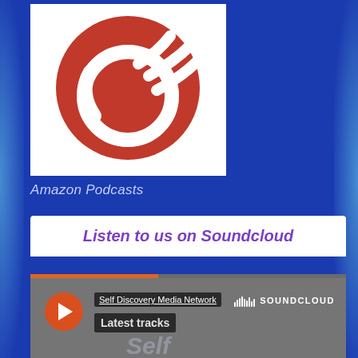[Figure (logo): Amazon Podcasts app logo: red circle with white phone/wifi icon on white card background]
Amazon Podcasts
Listen to us on Soundcloud
[Figure (screenshot): Soundcloud embedded player widget showing Self Discovery Media Network, Latest tracks, with orange play button and Soundcloud logo. A 'Self Discovery' watermark text visible in background.]